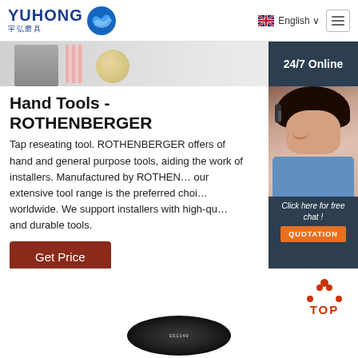YUHONG 宇弘磨具 | English
[Figure (photo): Hero banner showing grinding/abrasive tool products (wheels and discs) on a light background]
Hand Tools - ROTHENBERGER
Tap reseating tool. ROTHENBERGER offers of hand and general purpose tools, aiding the work of installers. Manufactured by ROTHENBERGER, our extensive tool range is the preferred choice worldwide. We support installers with high-quality and durable tools.
[Figure (photo): Customer service agent (woman with headset) with 24/7 Online chat widget, dark navy background, orange QUOTATION button]
Get Price
[Figure (other): TOP scroll-to-top button with orange/red dots arc and TOP text]
[Figure (photo): Bottom portion of a dark abrasive disc product with text markings]